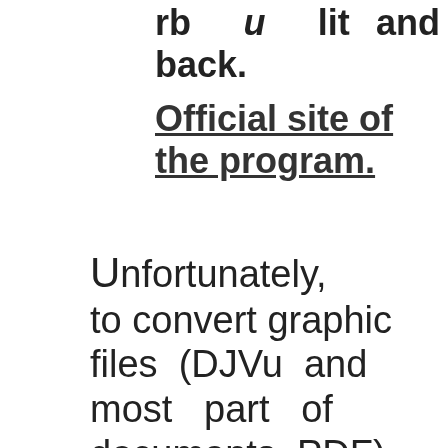rb и lit and back.
Official site of the program.
Unfortunately, to convert graphic files (DJVu and most part of documents PDF) into FB2, MOBI...